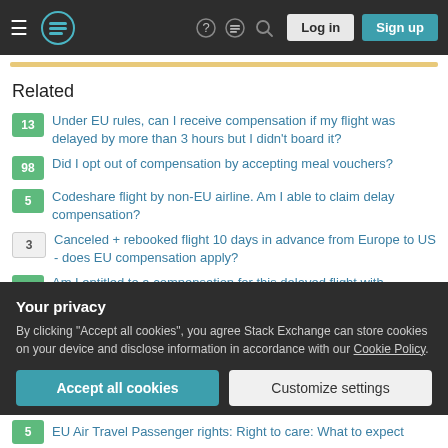Stack Exchange navigation bar with Log in and Sign up buttons
Related
13 Under EU rules, can I receive compensation if my flight was delayed by more than 3 hours but I didn't board it?
98 Did I opt out of compensation by accepting meal vouchers?
5 Codeshare flight by non-EU airline. Am I able to claim delay compensation?
3 Canceled + rebooked flight 10 days in advance from Europe to US - does EU compensation apply?
1 Am I entitled to a compensation for this delayed flight with
Your privacy
By clicking "Accept all cookies", you agree Stack Exchange can store cookies on your device and disclose information in accordance with our Cookie Policy.
5 EU Air Travel Passenger rights: Right to care: What to expect